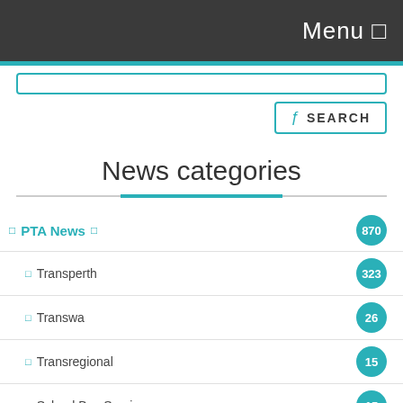Menu ☰
[Figure (screenshot): Search input bar with teal border]
[Figure (screenshot): Search button with teal border, magnifier icon, and SEARCH text]
News categories
PTA News  870
Transperth  323
Transwa  26
Transregional  15
School Bus Services  15
Transport Projects  142
Transport Portfolio  5